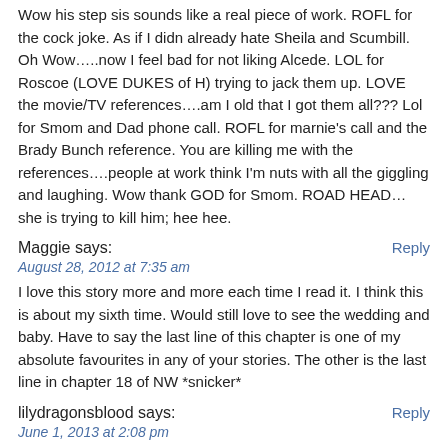Wow his step sis sounds like a real piece of work. ROFL for the cock joke. As if I didn already hate Sheila and Scumbill. Oh Wow…..now I feel bad for not liking Alcede. LOL for Roscoe (LOVE DUKES of H) trying to jack them up. LOVE the movie/TV references….am I old that I got them all??? Lol for Smom and Dad phone call. ROFL for marnie's call and the Brady Bunch reference. You are killing me with the references….people at work think I'm nuts with all the giggling and laughing. Wow thank GOD for Smom. ROAD HEAD…she is trying to kill him; hee hee.
Maggie says:
August 28, 2012 at 7:35 am
I love this story more and more each time I read it. I think this is about my sixth time. Would still love to see the wedding and baby. Have to say the last line of this chapter is one of my absolute favourites in any of your stories. The other is the last line in chapter 18 of NW *snicker*
lilydragonsblood says:
June 1, 2013 at 2:08 pm
oh my! x
Leave a Reply